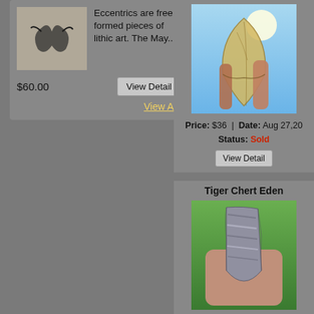[Figure (photo): Small thumbnail image of a dark eccentric lithic art piece on light background]
Eccentrics are free formed pieces of lithic art. The May...
$60.00
View Detail
View All
[Figure (photo): Photo of a translucent golden arrowhead being held up to blue sky]
Price: $36  |  Date: Aug 27,20
Status: Sold
View Detail
Tiger Chert Eden
[Figure (photo): Photo of a striped gray and white Eden point arrowhead held in a hand against green foliage]
Price: $42  |  Date: Aug 26,20
Status: Sold
View Detail